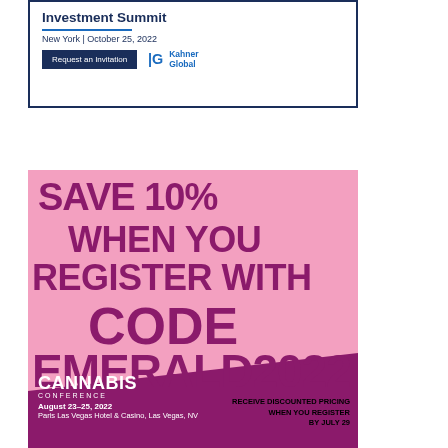[Figure (infographic): Cannabis & Psychedelics Investment Summit ad. New York | October 25, 2022. Request an Invitation button. Kahner Global logo. Dark navy border.]
[Figure (infographic): Cannabis Conference ad with pink/purple gradient background. SAVE 10% WHEN YOU REGISTER WITH CODE EMERALD2022. Receive discounted pricing when you register by July 29. Cannabis Conference August 23-25, 2022, Paris Las Vegas Hotel & Casino, Las Vegas, NV.]